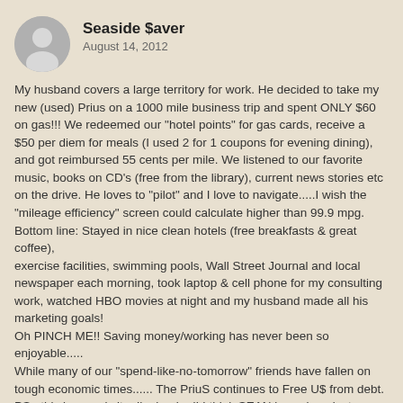Seaside $aver
August 14, 2012
My husband covers a large territory for work. He decided to take my new (used) Prius on a 1000 mile business trip and spent ONLY $60 on gas!!! We redeemed our "hotel points" for gas cards, receive a $50 per diem for meals (I used 2 for 1 coupons for evening dining), and got reimbursed 55 cents per mile. We listened to our favorite music, books on CD's (free from the library), current news stories etc on the drive. He loves to "pilot" and I love to navigate.....I wish the "mileage efficiency" screen could calculate higher than 99.9 mpg.
Bottom line: Stayed in nice clean hotels (free breakfasts & great coffee),
exercise facilities, swimming pools, Wall Street Journal and local newspaper each morning, took laptop & cell phone for my consulting work, watched HBO movies at night and my husband made all his marketing goals!
Oh PINCH ME!! Saving money/working has never been so enjoyable.....
While many of our "spend-like-no-tomorrow" friends have fallen on tough economic times...... The PriuS continues to Free US from debt.
PS...this is a cool site..I'm hooked! I think SEAN is my long lost fraternal twin.